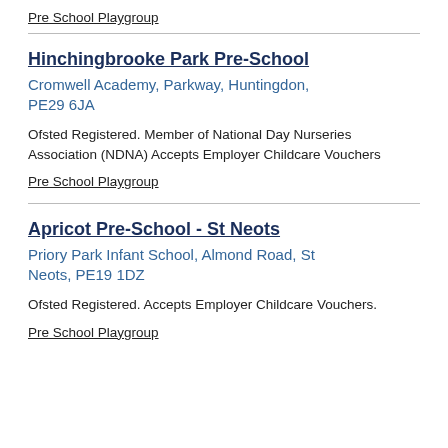Pre School Playgroup
Hinchingbrooke Park Pre-School
Cromwell Academy, Parkway, Huntingdon, PE29 6JA
Ofsted Registered. Member of National Day Nurseries Association (NDNA) Accepts Employer Childcare Vouchers
Pre School Playgroup
Apricot Pre-School - St Neots
Priory Park Infant School, Almond Road, St Neots, PE19 1DZ
Ofsted Registered. Accepts Employer Childcare Vouchers.
Pre School Playgroup